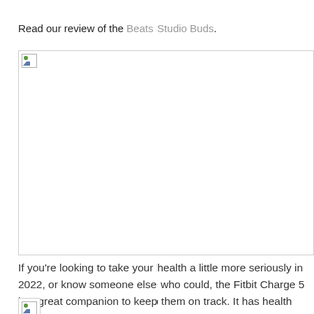Read our review of the Beats Studio Buds.
[Figure (photo): Broken/unloaded image placeholder for a product image (likely Beats Studio Buds or Fitbit Charge 5)]
If you're looking to take your health a little more seriously in 2022, or know someone else who could, the Fitbit Charge 5 is a great companion to keep them on track. It has health monitoring, sleep tracking, and recently added ECG functionality. Take one now.
[Figure (photo): Second broken/unloaded image placeholder]